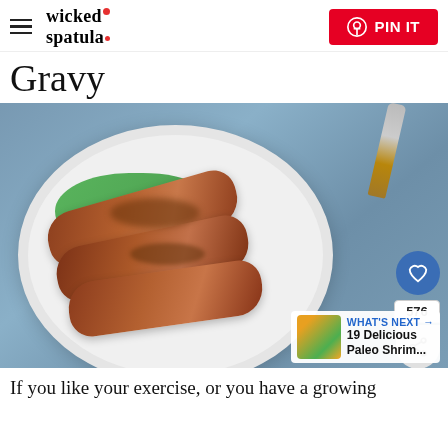wicked spatula | PIN IT
Gravy
[Figure (photo): A white plate with grilled/seared steak strips topped with brown gravy sauce, served on a bed of green lettuce leaves. A fork with a wooden handle is visible in the upper right. Blue denim tablecloth background.]
If you like your exercise, or you have a growing